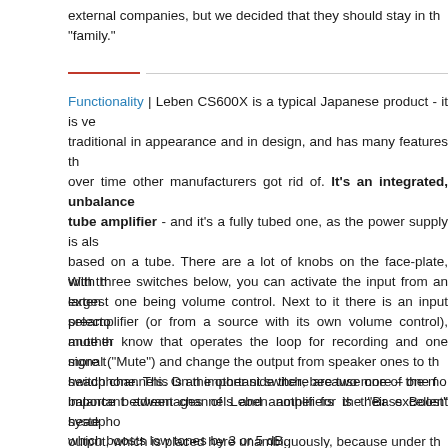external companies, but we decided that they should stay in the "family."
Functionality | Leben CS600X is a typical Japanese product - it is very traditional in appearance and in design, and has many features that over time other manufacturers got rid of. It's an integrated, unbalanced tube amplifier - and it's a fully tubed one, as the power supply is also based on a tube. There are a lot of knobs on the face-plate, with the largest one being volume control. Next to it there is an input selector, another know that operates the loop for recording and one more to switch channels. On the other side there are two more – one for balance between channels and another for the "Bass Boost" system, which boosts low tones by 3 or 5 dB.
With three switches below, you can activate the input from an external preamplifier (or from a source with its own volume control), mute the signal ("Mute") and change the output from speaker ones to the headphone. This is an important switch, because one of the most important advantages of Leben amplifiers is their excellent headphone output, which is placed here unambiguously, because under the volume control knob. And there is also a power switch with its own orange diode and two pairs of LEDs, in red and green, indicating positions of the switches, that allow user to set the anode voltage and the cathode resistor for the output tubes.